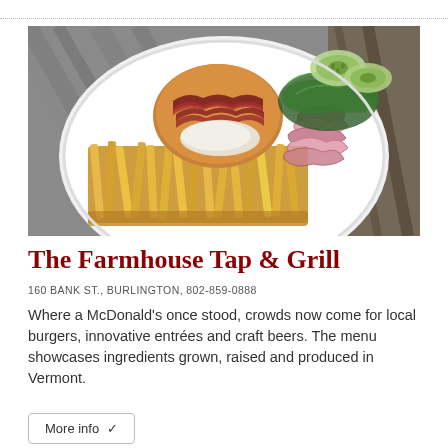[Figure (photo): Overhead photo of a white plate with a bacon-topped burger with cream sauce, a large portion of french fries, pickled red onions, fresh greens/salad, and cucumber slices, set on a rustic wooden table.]
The Farmhouse Tap & Grill
160 BANK ST., BURLINGTON, 802-859-0888
Where a McDonald's once stood, crowds now come for local burgers, innovative entrées and craft beers. The menu showcases ingredients grown, raised and produced in Vermont.
More info ❯